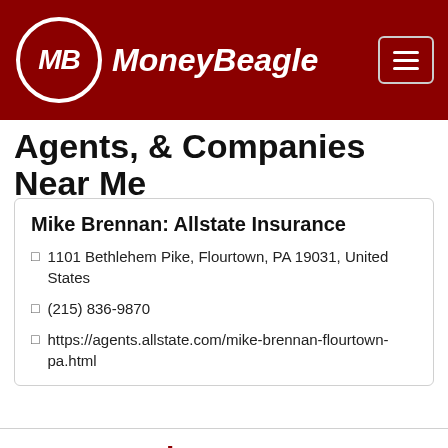[Figure (logo): MoneyBeagle logo with MB initials in a circle on dark red background with hamburger menu button]
Agents, & Companies Near Me
Mike Brennan: Allstate Insurance
📍 1101 Bethlehem Pike, Flourtown, PA 19031, United States
📞 (215) 836-9870
🔗 https://agents.allstate.com/mike-brennan-flourtown-pa.html
Compare Cheap Car Insurance Quotes Now
Enter Zip
Get Rates >